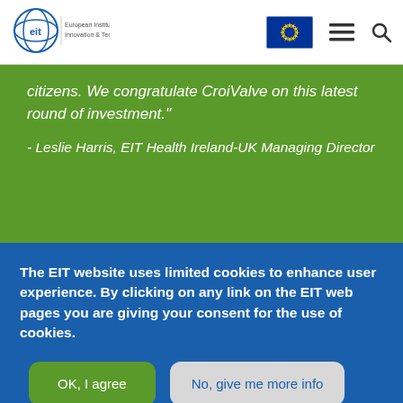[Figure (logo): EIT (European Institute of Innovation & Technology) logo with circular design and text, plus EU flag, hamburger menu, and search icon in page header]
citizens. We congratulate CroiValve on this latest round of investment." - Leslie Harris, EIT Health Ireland-UK Managing Director
The EIT website uses limited cookies to enhance user experience. By clicking on any link on the EIT web pages you are giving your consent for the use of cookies.
OK, I agree
No, give me more info